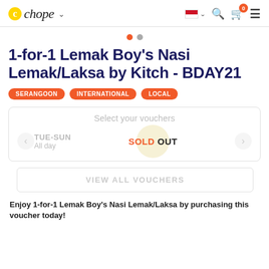Chope | navigation bar with logo, flag selector, search, cart (0), menu
[Figure (infographic): Carousel pagination dots: one orange active dot and one grey inactive dot]
1-for-1 Lemak Boy's Nasi Lemak/Laksa by Kitch - BDAY21
SERANGOON  INTERNATIONAL  LOCAL
Select your vouchers
TUE-SUN
All day
SOLD OUT
VIEW ALL VOUCHERS
Enjoy 1-for-1 Lemak Boy's Nasi Lemak/Laksa by purchasing this voucher today!